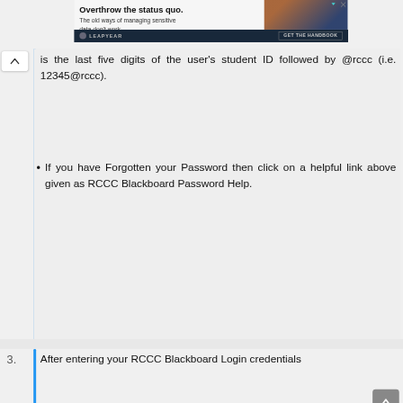[Figure (other): Advertisement banner for Leapyear: 'Overthrow the status quo. The old ways of managing sensitive data don't work.' with a GET THE HANDBOOK button.]
is the last five digits of the user's student ID followed by @rccc (i.e. 12345@rccc).
If you have Forgotten your Password then click on a helpful link above given as RCCC Blackboard Password Help.
3. After entering your RCCC Blackboard Login credentials